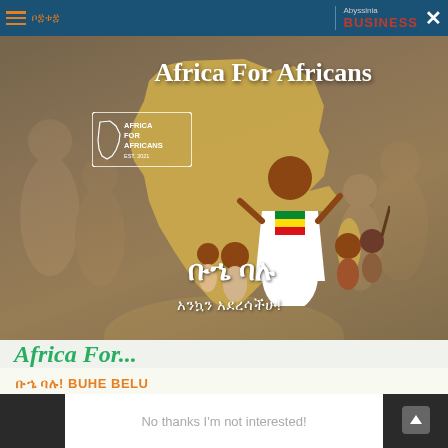Abyssinia BUSINESS — browser top bar with close button
[Figure (illustration): Africa For Africans promotional image: golden Africa map silhouette on mural background with illustrated Ethiopian figures in traditional dress celebrating Buhe Belu holiday. Text overlay reads 'Africa For Africans', Ethiopic script 'ቡኄ ባሉ / አንኳን አደረሳችሁ!' and Africa For Africans logo.]
Africa For...
ቡኄ ባሉ! BUHE BELU
Happy Holiday !